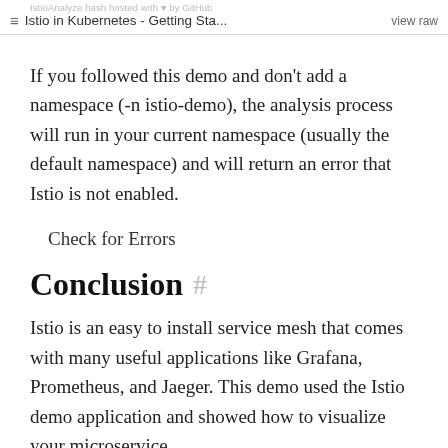IstioAnalyze hash hosted with ♥ by GitHub  Istio in Kubernetes - Getting Sta...  view raw
If you followed this demo and don't add a namespace (-n istio-demo), the analysis process will run in your current namespace (usually the default namespace) and will return an error that Istio is not enabled.
Check for Errors
Conclusion #
Istio is an easy to install service mesh that comes with many useful applications like Grafana, Prometheus, and Jaeger. This demo used the Istio demo application and showed how to visualize your microservice